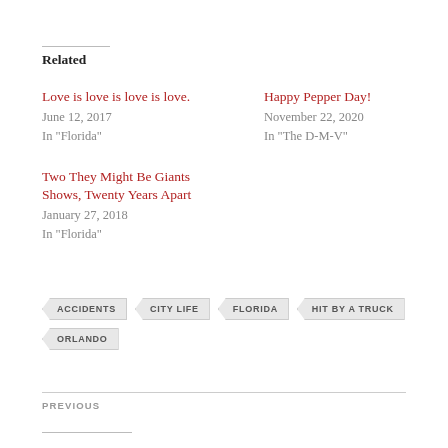Related
Love is love is love is love.
June 12, 2017
In "Florida"
Happy Pepper Day!
November 22, 2020
In "The D-M-V"
Two They Might Be Giants Shows, Twenty Years Apart
January 27, 2018
In "Florida"
ACCIDENTS  CITY LIFE  FLORIDA  HIT BY A TRUCK  ORLANDO
PREVIOUS